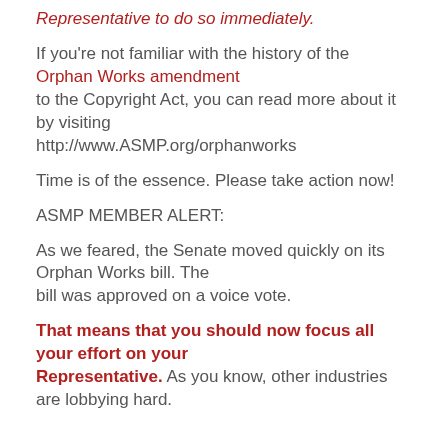Representative to do so immediately.
If you're not familiar with the history of the Orphan Works amendment to the Copyright Act, you can read more about it by visiting http://www.ASMP.org/orphanworks
Time is of the essence. Please take action now!
ASMP MEMBER ALERT:
As we feared, the Senate moved quickly on its Orphan Works bill. The bill was approved on a voice vote.
That means that you should now focus all your effort on your Representative. As you know, other industries are lobbying hard.